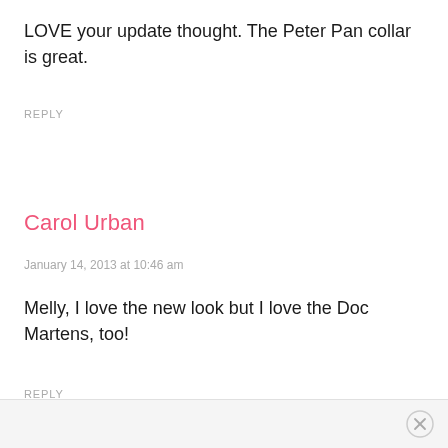LOVE your update thought. The Peter Pan collar is great.
REPLY
Carol Urban
January 14, 2013 at 10:46 am
Melly, I love the new look but I love the Doc Martens, too!
REPLY